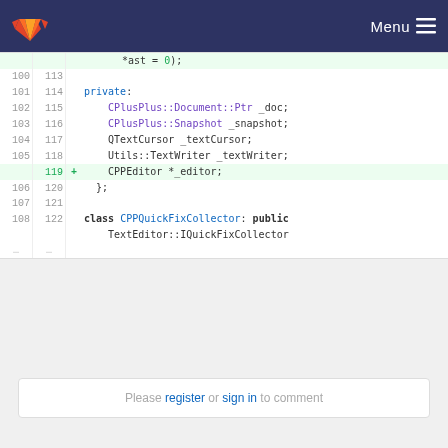GitLab — Menu
[Figure (screenshot): GitLab code diff view showing C++ header file lines 100–122 with line numbers, a highlighted added line 119 with CPPEditor *_editor;, and code including private section members and class CPPQuickFixCollector declaration]
Please register or sign in to comment